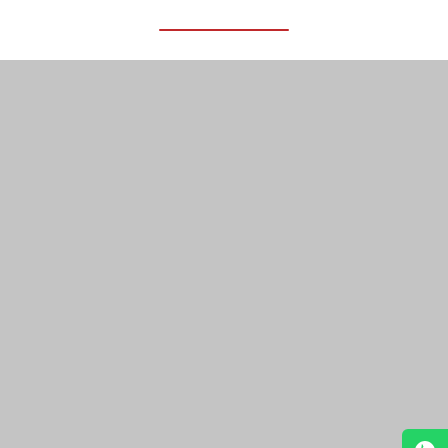[Figure (photo): Gray placeholder image area representing a news article photo with a 'Read in App' button overlay]
At least six people dies while search for others continued as a four-storey building collapsed in Gurugram on Thursday. Search